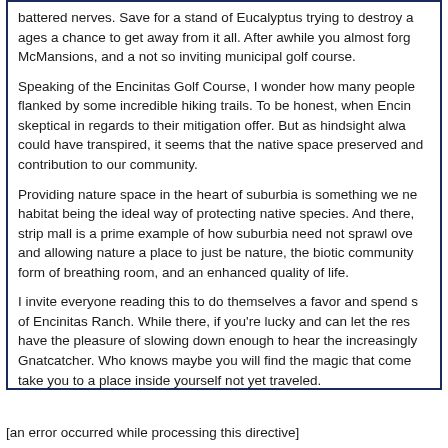battered nerves. Save for a stand of Eucalyptus trying to destroy a ages a chance to get away from it all. After awhile you almost forg McMansions, and a not so inviting municipal golf course.
Speaking of the Encinitas Golf Course, I wonder how many people flanked by some incredible hiking trails. To be honest, when Encin skeptical in regards to their mitigation offer. But as hindsight alwa could have transpired, it seems that the native space preserved and contribution to our community.
Providing nature space in the heart of suburbia is something we ne habitat being the ideal way of protecting native species. And there, strip mall is a prime example of how suburbia need not sprawl ove and allowing nature a place to just be nature, the biotic community form of breathing room, and an enhanced quality of life.
I invite everyone reading this to do themselves a favor and spend s of Encinitas Ranch. While there, if you're lucky and can let the res have the pleasure of slowing down enough to hear the increasingly Gnatcatcher. Who knows maybe you will find the magic that come take you to a place inside yourself not yet traveled.
Thoreau did, and we are all better because of it.
[an error occurred while processing this directive]